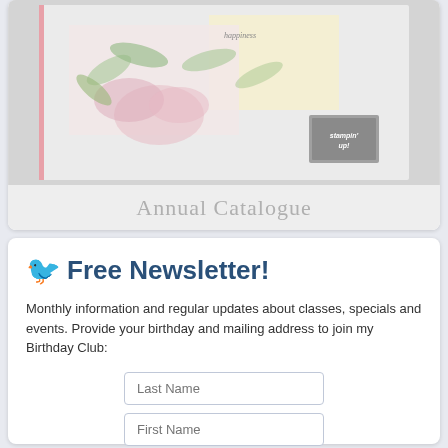[Figure (photo): Annual Catalogue cover showing floral watercolor artwork with stamping cards and Stampin' Up! logo]
Annual Catalogue
🐦 Free Newsletter!
Monthly information and regular updates about classes, specials and events. Provide your birthday and mailing address to join my Birthday Club:
Last Name
First Name